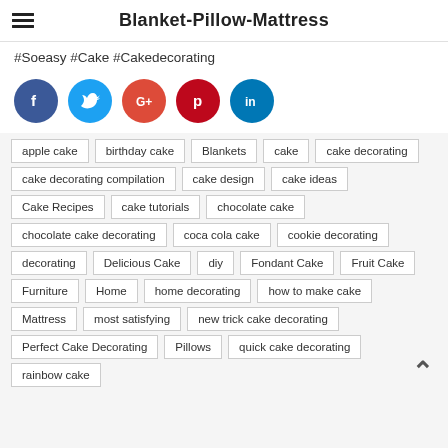Blanket-Pillow-Mattress
#Soeasy #Cake #Cakedecorating
[Figure (infographic): Social media sharing icons: Facebook (blue), Twitter (cyan), Google+ (orange-red), Pinterest (red), LinkedIn (teal)]
apple cake
birthday cake
Blankets
cake
cake decorating
cake decorating compilation
cake design
cake ideas
Cake Recipes
cake tutorials
chocolate cake
chocolate cake decorating
coca cola cake
cookie decorating
decorating
Delicious Cake
diy
Fondant Cake
Fruit Cake
Furniture
Home
home decorating
how to make cake
Mattress
most satisfying
new trick cake decorating
Perfect Cake Decorating
Pillows
quick cake decorating
rainbow cake